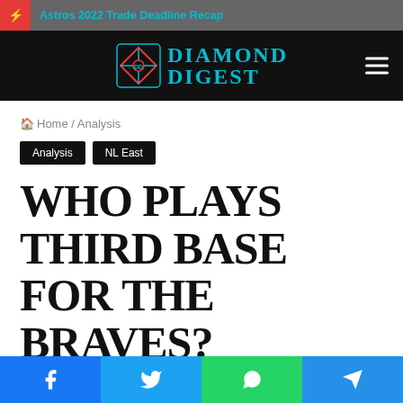Astros 2022 Trade Deadline Recap
[Figure (logo): Diamond Digest logo with baseball diamond icon and teal text]
Home / Analysis
Analysis
NL East
WHO PLAYS THIRD BASE FOR THE BRAVES?
Social share buttons: Facebook, Twitter, WhatsApp, Telegram